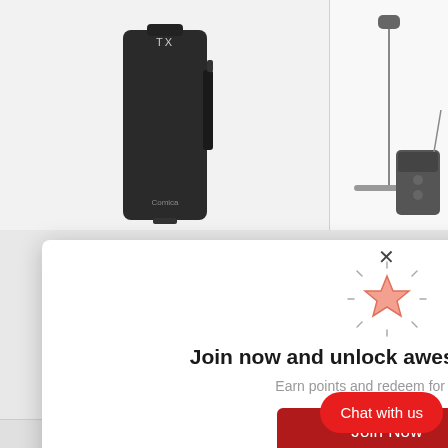[Figure (screenshot): Product images showing TX wireless transmitter device (black) and microphone/receiver hardware on light gray background]
[Figure (illustration): Glowing pink/salmon star icon with radiating lines indicating reward/favorite]
Join now and unlock awesome rewards
Earn points and redeem for rewards
[Figure (screenshot): Red 'Join Now' button]
Already a member? Sig
IC1
ione
[Figure (screenshot): Red rounded 'Chat with us' button in bottom right corner]